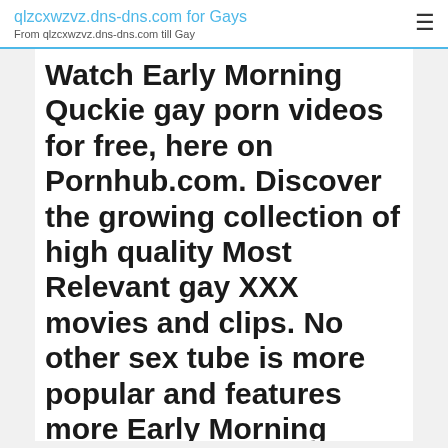qlzcxwzvz.dns-dns.com for Gays
From qlzcxwzvz.dns-dns.com till Gay
Watch Early Morning Quckie gay porn videos for free, here on Pornhub.com. Discover the growing collection of high quality Most Relevant gay XXX movies and clips. No other sex tube is more popular and features more Early Morning Quckie gay ...